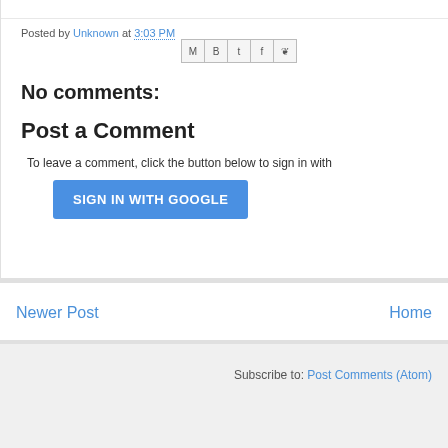Posted by Unknown at 3:03 PM
No comments:
Post a Comment
To leave a comment, click the button below to sign in with
SIGN IN WITH GOOGLE
Newer Post
Home
Subscribe to: Post Comments (Atom)